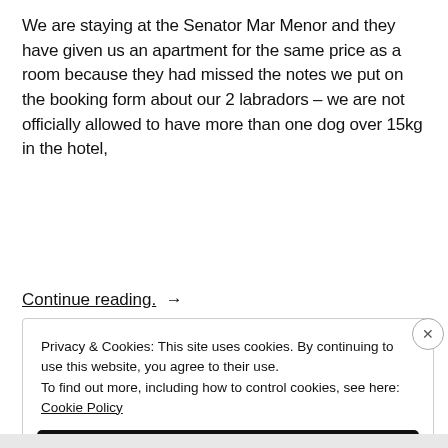We are staying at the Senator Mar Menor and they have given us an apartment for the same price as a room because they had missed the notes we put on the booking form about our 2 labradors – we are not officially allowed to have more than one dog over 15kg in the hotel,
Continue reading.  →
Privacy & Cookies: This site uses cookies. By continuing to use this website, you agree to their use.
To find out more, including how to control cookies, see here:
Cookie Policy
Close and accept